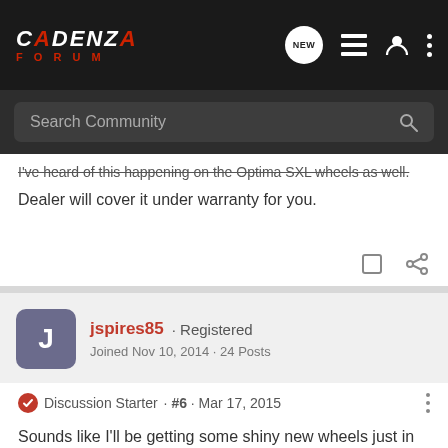CADENZA FORUM
Search Community
I've heard of this happening on the Optima SXL wheels as well.
Dealer will cover it under warranty for you.
jspires85 · Registered
Joined Nov 10, 2014 · 24 Posts
Discussion Starter · #6 · Mar 17, 2015
Sounds like I'll be getting some shiny new wheels just in time for Spring! My wife is slightly annoyed that the road rash she